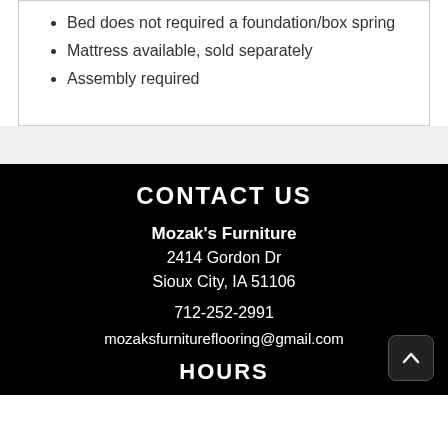Bed does not required a foundation/box spring
Mattress available, sold separately
Assembly required
CONTACT US
Mozak's Furniture
2414 Gordon Dr
Sioux City, IA 51106
712-252-2991
mozaksfurnitureflooring@gmail.com
HOURS